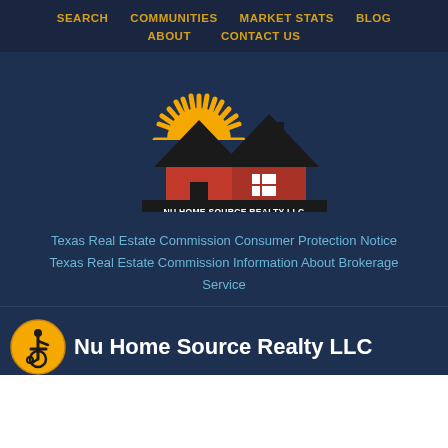SEARCH   COMMUNITIES   MARKET STATS   BLOG   ABOUT   CONTACT US
[Figure (logo): Nu Home Source Realty LLC logo with house silhouettes and sun]
Texas Real Estate Commission Consumer Protection Notice
Texas Real Estate Commission Information About Brokerage Service
Nu Home Source Realty LLC